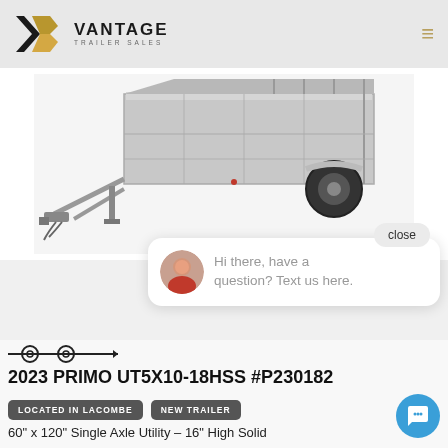[Figure (logo): Vantage Trailer Sales logo with star icon]
[Figure (photo): Silver/aluminum single axle utility trailer with railed sides, viewed from front-left angle on white background]
close
Hi there, have a question? Text us here.
[Figure (illustration): Single axle trailer icon/symbol]
2023 PRIMO UT5X10-18HSS #P230182
LOCATED IN LACOMBE
NEW TRAILER
60" x 120" Single Axle Utility – 16" High Solid